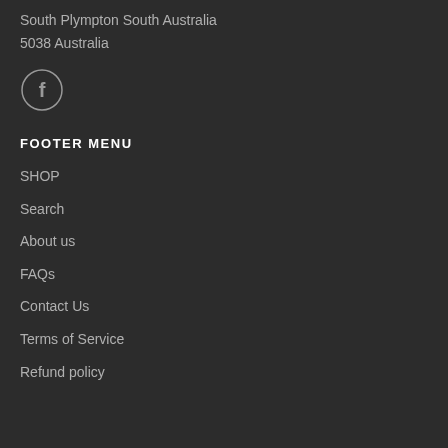South Plympton South Australia
5038 Australia
[Figure (logo): Facebook icon — a circle outline with a lowercase 'f' in the center]
FOOTER MENU
SHOP
Search
About us
FAQs
Contact Us
Terms of Service
Refund policy